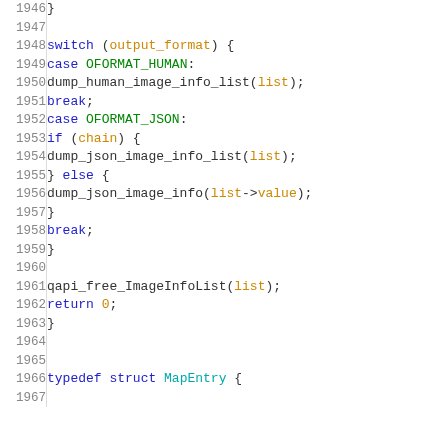Source code listing lines 1946-1967, C code snippet with switch statement and typedef struct
[Figure (screenshot): C source code with line numbers 1946-1967 showing switch statement on output_format with cases OFORMAT_HUMAN and OFORMAT_JSON, followed by qapi_free_ImageInfoList call and typedef struct MapEntry beginning]